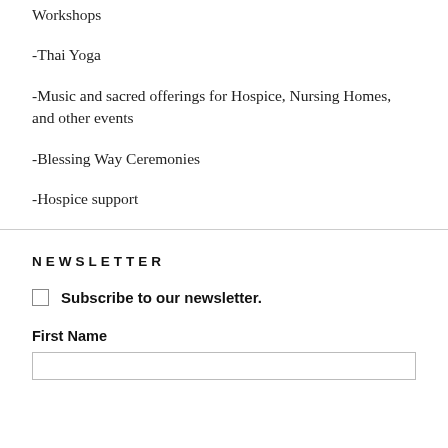Workshops
-Thai Yoga
-Music and sacred offerings for Hospice, Nursing Homes, and other events
-Blessing Way Ceremonies
-Hospice support
NEWSLETTER
Subscribe to our newsletter.
First Name